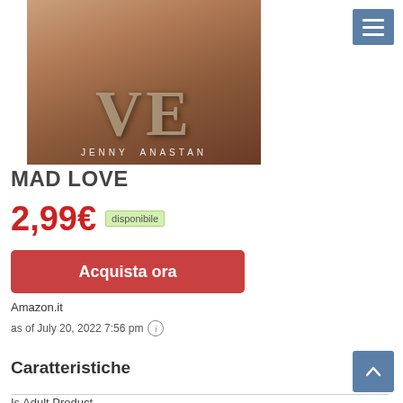[Figure (illustration): Book cover for Mad Love by Jenny Anastan, showing large stylized letters 'VE' made of stone/wood texture on a warm brown/amber background with the author name JENNY ANASTAN at the bottom]
MAD LOVE
2,99€ disponibile
Acquista ora
Amazon.it
as of July 20, 2022 7:56 pm
Caratteristiche
Is Adult Product